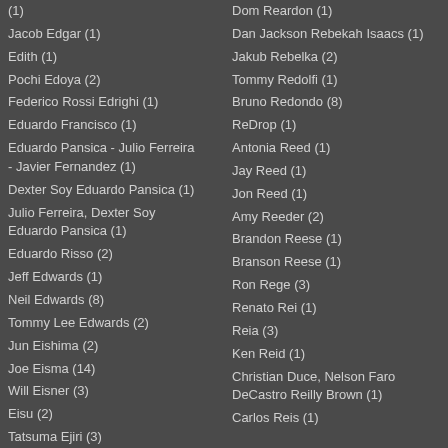(1)
Jacob Edgar (1)
Edith (1)
Pochi Edoya (2)
Federico Rossi Edrighi (1)
Eduardo Francisco (1)
Eduardo Pansica - Julio Ferreira - Javier Fernandez (1)
Dexter Soy Eduardo Pansica (1)
Julio Ferreira, Dexter Soy Eduardo Pansica (1)
Eduardo Risso (2)
Jeff Edwards (1)
Neil Edwards (8)
Tommy Lee Edwards (2)
Jun Eishima (2)
Joe Eisma (14)
Will Eisner (3)
Eisu (2)
Tatsuma Ejiri (3)
Dom Reardon (1)
Dan Jackson Rebekah Isaacs (1)
Jakub Rebelka (2)
Tommy Redolfi (1)
Bruno Redondo (8)
ReDrop (1)
Antonia Reed (1)
Jay Reed (1)
Jon Reed (1)
Amy Reeder (2)
Brandon Reese (1)
Branson Reese (1)
Ron Rege (3)
Renato Rei (1)
Reia (3)
Ken Reid (1)
Christian Duce, Nelson Faro DeCastro Reilly Brown (1)
Carlos Reis (1)